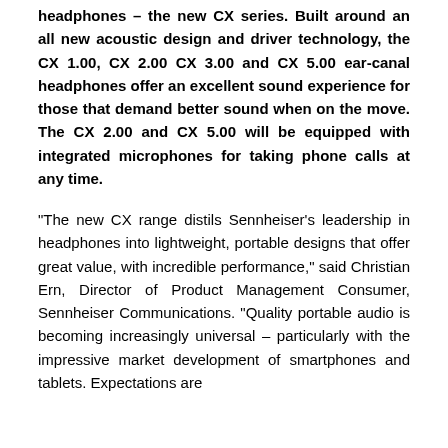headphones – the new CX series. Built around an all new acoustic design and driver technology, the CX 1.00, CX 2.00 CX 3.00 and CX 5.00 ear-canal headphones offer an excellent sound experience for those that demand better sound when on the move. The CX 2.00 and CX 5.00 will be equipped with integrated microphones for taking phone calls at any time.
“The new CX range distils Sennheiser’s leadership in headphones into lightweight, portable designs that offer great value, with incredible performance,” said Christian Ern, Director of Product Management Consumer, Sennheiser Communications. “Quality portable audio is becoming increasingly universal – particularly with the impressive market development of smartphones and tablets. Expectations are